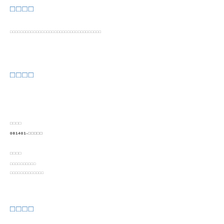□□□□
□□□□□□□□□□□□□□□□□□□□□□□□□□□□□□□□□□□
□□□□
□□□□
081401-□□□□□
□□□□
□□□□□□□□□□
□□□□□□□□□□□□□
□□□□